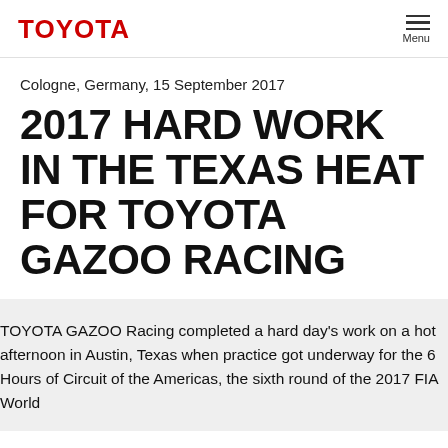TOYOTA  Menu
Cologne, Germany, 15 September 2017
2017 HARD WORK IN THE TEXAS HEAT FOR TOYOTA GAZOO RACING
TOYOTA GAZOO Racing completed a hard day's work on a hot afternoon in Austin, Texas when practice got underway for the 6 Hours of Circuit of the Americas, the sixth round of the 2017 FIA World